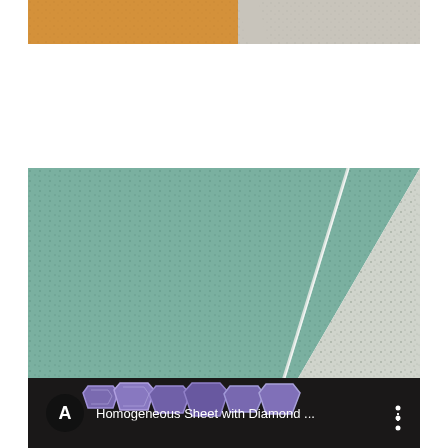[Figure (photo): Close-up photo of two flooring material samples partially visible at top — golden/yellow textured vinyl on the left and speckled light grey vinyl on the right.]
[Figure (photo): Close-up photo of two homogeneous vinyl sheet flooring samples placed side by side at an angle. Left sample is teal/sage green with a speckled texture; right sample is light grey/white with green speckles. A diagonal seam/edge separates the two samples.]
[Figure (screenshot): Video thumbnail showing graffiti-style lettering in purple/blue tones on a dark background, with a circular black icon showing letter 'A' on the left and the title 'Homogeneous Sheet with Diamond ...' in white text. Three-dot menu icon on the right.]